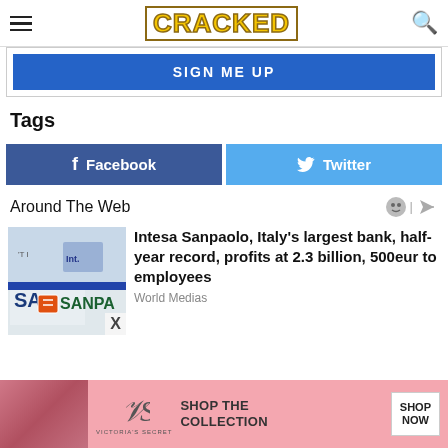CRACKED
[Figure (screenshot): Sign Me Up blue button inside a bordered box]
Tags
[Figure (infographic): Facebook and Twitter share buttons side by side]
Around The Web
[Figure (photo): Intesa Sanpaolo bank sign exterior photo]
Intesa Sanpaolo, Italy's largest bank, half-year record, profits at 2.3 billion, 500eur to employees
World Medias
[Figure (screenshot): Victoria's Secret advertisement banner: Shop the Collection, Shop Now]